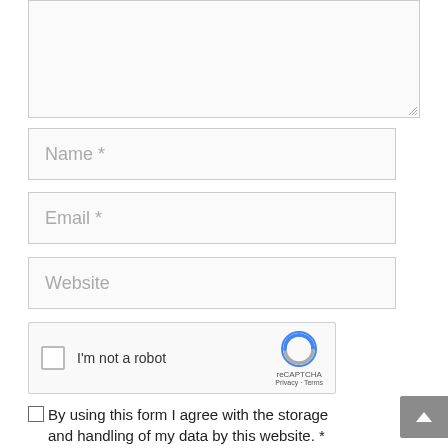[Figure (screenshot): Textarea input box (comment field), empty, with resize handle at bottom-right corner]
Name *
Email *
Website
[Figure (other): reCAPTCHA widget with checkbox labeled 'I'm not a robot', reCAPTCHA logo, Privacy and Terms links]
By using this form I agree with the storage and handling of my data by this website. *